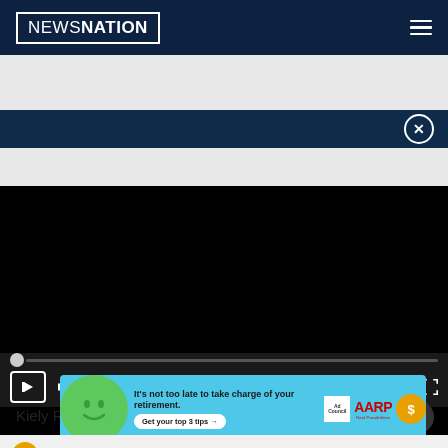[Figure (screenshot): NewsNation website header with logo on left and hamburger menu on right, dark navy background]
[Figure (screenshot): Dark sub-header bar with close/X circle button on right]
[Figure (screenshot): Black video player area with progress bar and playback controls showing 00:00 timestamp]
Kiely Rodni
[Figure (screenshot): AARP advertisement banner: 'It's not too late to take charge of your retirement. Get your top 3 tips' with Ad Council and AARP logos]
3 MID-SOUTH